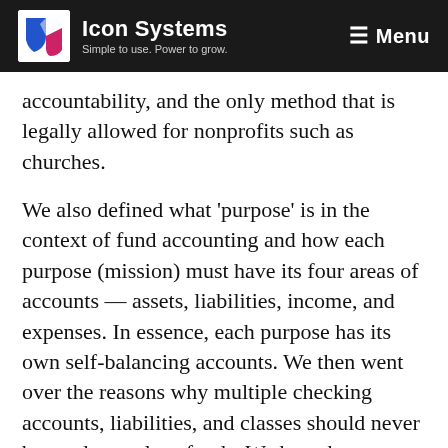Icon Systems — Simple to use. Power to grow. Menu
accountability, and the only method that is legally allowed for nonprofits such as churches.
We also defined what 'purpose' is in the context of fund accounting and how each purpose (mission) must have its four areas of accounts — assets, liabilities, income, and expenses. In essence, each purpose has its own self-balancing accounts. We then went over the reasons why multiple checking accounts, liabilities, and classes should never be used to replace funds. We hope by defining what fund accounting is, and what it is not, that you walk away with a better understanding of fund accounting.